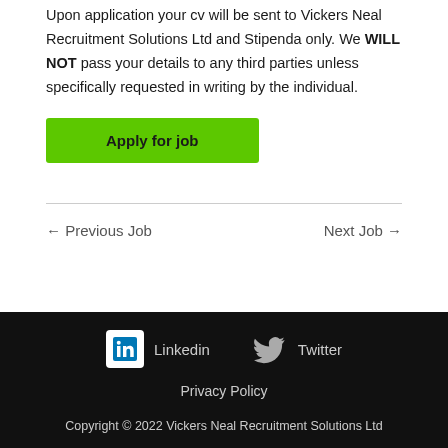Upon application your cv will be sent to Vickers Neal Recruitment Solutions Ltd and Stipenda only. We WILL NOT pass your details to any third parties unless specifically requested in writing by the individual.
Apply for job
← Previous Job
Next Job →
Linkedin   Twitter   Privacy Policy   Copyright © 2022 Vickers Neal Recruitment Solutions Ltd